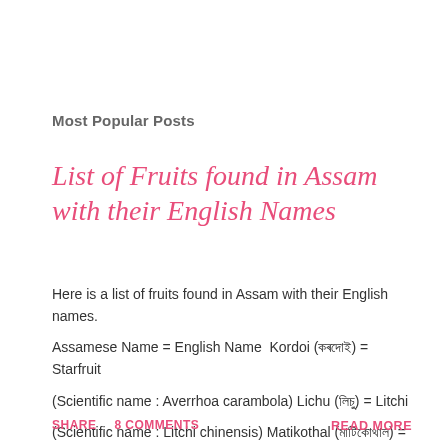Most Popular Posts
List of Fruits found in Assam with their English Names
Here is a list of fruits found in Assam with their English names. Assamese Name = English Name  Kordoi (কৰদোই) = Starfruit (Scientific name : Averrhoa carambola) Lichu (লিচু) = Litchi (Scientific name : Litchi chinensis) Matikothal (মাটিকোথাল) = ...
SHARE  8 COMMENTS  READ MORE